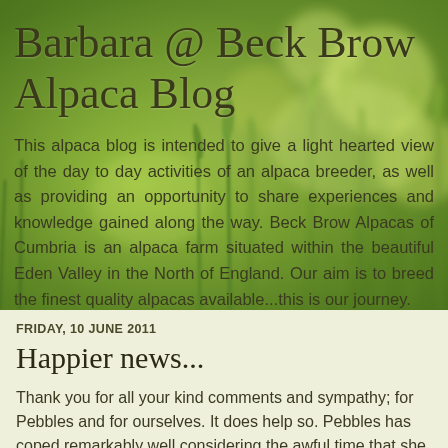[Figure (photo): Green wheat or barley field with blurred bokeh background, serving as the blog header background image]
Barbara @ Beck Brow Alpaca Blog
This alpaca blog is intended to give a light hearted view of the day to day activities of an alpaca breeder, as well as providing an opportunity to share experiences and knowledge gained along the way. Beck Brow Alpacas of Cumbria is an alpaca farm situated within the beautiful Eden Valley in the North of England. Our aim is to breed the finest quality alpacas available...this is our journey.
FRIDAY, 10 JUNE 2011
Happier news...
Thank you for all your kind comments and sympathy; for Pebbles and for ourselves. It does help so. Pebbles has coped remarkably well considering the awful time that she